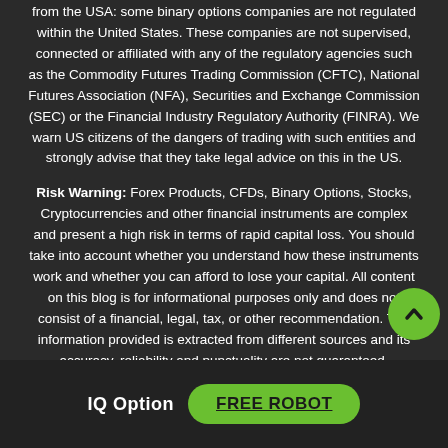from the USA: some binary options companies are not regulated within the United States. These companies are not supervised, connected or affiliated with any of the regulatory agencies such as the Commodity Futures Trading Commission (CFTC), National Futures Association (NFA), Securities and Exchange Commission (SEC) or the Financial Industry Regulatory Authority (FINRA). We warn US citizens of the dangers of trading with such entities and strongly advise that they take legal advice on this in the US.
Risk Warning: Forex Products, CFDs, Binary Options, Stocks, Cryptocurrencies and other financial instruments are complex and present a high risk in terms of rapid capital loss. You should take into account whether you understand how these instruments work and whether you can afford to lose your capital. All content on this blog is for informational purposes only and does not consist of a financial, legal, tax, or other recommendation. The information provided is extracted from different sources and its accuracy, reliability and punctuality are not guaranteed.
IQ Option FREE ROBOT